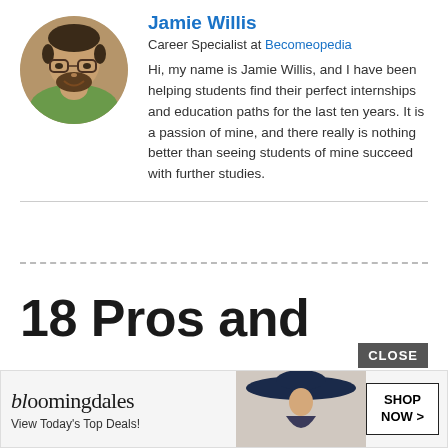[Figure (photo): Circular profile photo of Jamie Willis, a man with glasses and a beard, smiling, outdoors with green background]
Jamie Willis
Career Specialist at Becomeopedia
Hi, my name is Jamie Willis, and I have been helping students find their perfect internships and education paths for the last ten years. It is a passion of mine, and there really is nothing better than seeing students of mine succeed with further studies.
18 Pros and Cons of Being a Baker
[Figure (photo): Bloomingdales advertisement with woman in wide-brim hat. Text: bloomingdales, View Today's Top Deals!, SHOP NOW >. Close button visible.]